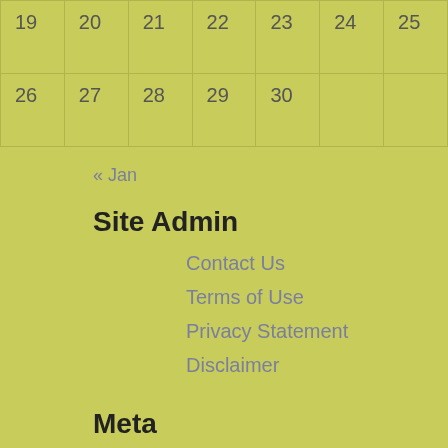| 19 | 20 | 21 | 22 | 23 | 24 | 25 |
| 26 | 27 | 28 | 29 | 30 |  |  |
« Jan
Site Admin
Contact Us
Terms of Use
Privacy Statement
Disclaimer
Meta